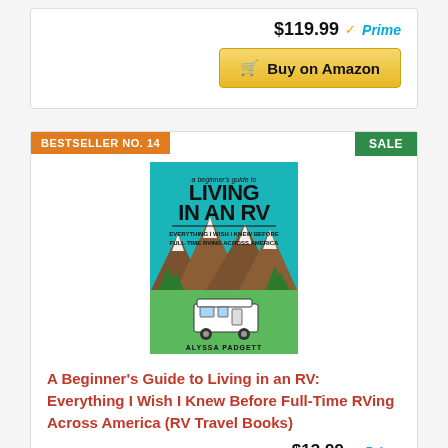$119.99 ✓Prime
Buy on Amazon
BESTSELLER NO. 14
SALE
[Figure (illustration): Book cover: A Beginner's Guide to LIVING IN AN RV - Everything I Wish I Knew Before Full-Time RVing Across America, by Alyssa Padgett. Teal background with mountains and an RV.]
A Beginner's Guide to Living in an RV: Everything I Wish I Knew Before Full-Time RVing Across America (RV Travel Books)
$13.99 ✓Prime